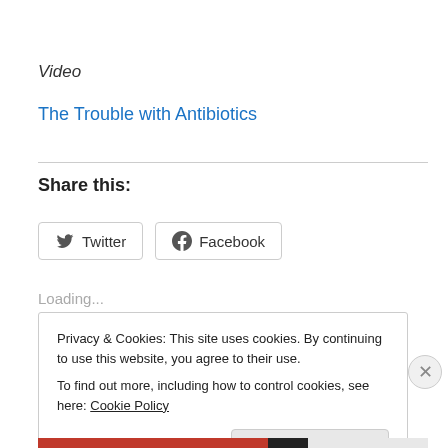Video
The Trouble with Antibiotics
Share this:
[Figure (screenshot): Twitter and Facebook share buttons]
Loading...
Privacy & Cookies: This site uses cookies. By continuing to use this website, you agree to their use.
To find out more, including how to control cookies, see here: Cookie Policy
Close and accept